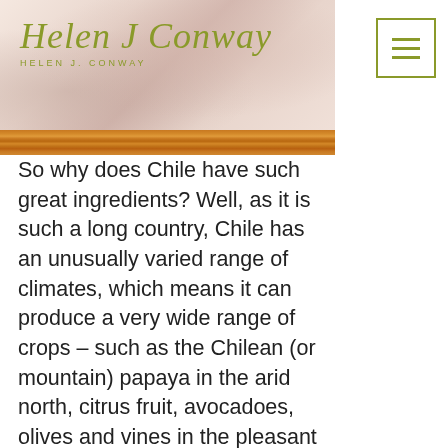Helen J Conway
[Figure (photo): Decorative header banner with floral/soft pink background and Helen J Conway logo in olive/yellow-green script, with a menu hamburger icon button on the right. Below the banner is a horizontal wood-grain bar in warm orange-brown.]
So why does Chile have such great ingredients? Well, as it is such a long country, Chile has an unusually varied range of climates, which means it can produce a very wide range of crops – such as the Chilean (or mountain) papaya in the arid north, citrus fruit, avocadoes, olives and vines in the pleasant Mediterranean conditions in the long central part of the country and a wide range of berries (raspberries, blueberries etc.) in the cooler central-south area, to name just a few.  As Chile is in the Southern Hemisphere, its seasons mirror those in the north: apples, grapes and avocadoes are in season here right when